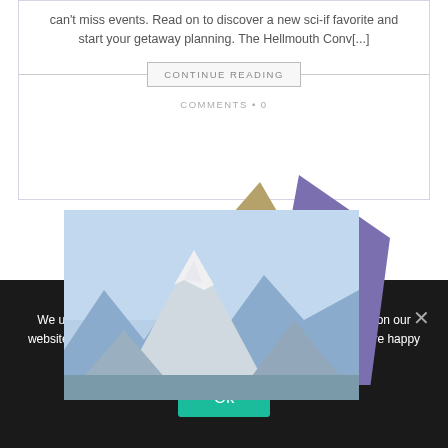can't miss events. Read on to discover a new sci-if favorite and start your getaway planning. The Hellmouth Conv[...]
CONTINUE READING
COMMENTS • 0
[Figure (photo): Mountain photo with snow-capped peak against blue sky, with purple and tan decorative geometric shapes behind it]
We use cookies to ensure that we give you the best experience on our website. If you continue to use this site we will assume that you are happy with it.
Ok